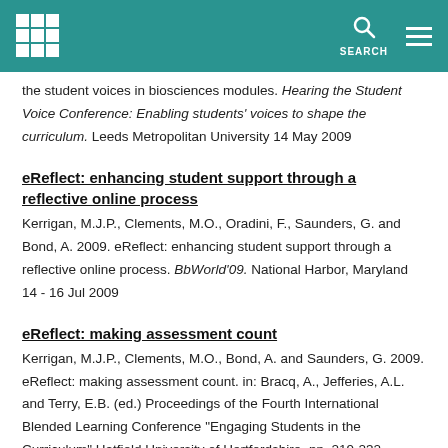Grid logo | SEARCH | Menu
the student voices in biosciences modules. Hearing the Student Voice Conference: Enabling students' voices to shape the curriculum. Leeds Metropolitan University 14 May 2009
eReflect: enhancing student support through a reflective online process
Kerrigan, M.J.P., Clements, M.O., Oradini, F., Saunders, G. and Bond, A. 2009. eReflect: enhancing student support through a reflective online process. BbWorld'09. National Harbor, Maryland 14 - 16 Jul 2009
eReflect: making assessment count
Kerrigan, M.J.P., Clements, M.O., Bond, A. and Saunders, G. 2009. eReflect: making assessment count. in: Bracq, A., Jefferies, A.L. and Terry, E.B. (ed.) Proceedings of the Fourth International Blended Learning Conference "Engaging Students in the Curriculum" Hatfield University of Hertfordshire. pp. 219-232
Making...